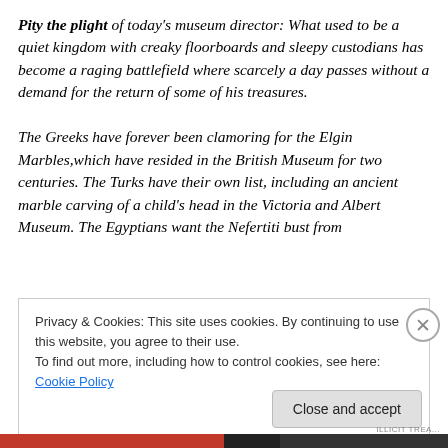Pity the plight of today's museum director: What used to be a quiet kingdom with creaky floorboards and sleepy custodians has become a raging battlefield where scarcely a day passes without a demand for the return of some of his treasures.

The Greeks have forever been clamoring for the Elgin Marbles,which have resided in the British Museum for two centuries. The Turks have their own list, including an ancient marble carving of a child's head in the Victoria and Albert Museum. The Egyptians want the Nefertiti bust from
Privacy & Cookies: This site uses cookies. By continuing to use this website, you agree to their use.
To find out more, including how to control cookies, see here: Cookie Policy
Close and accept